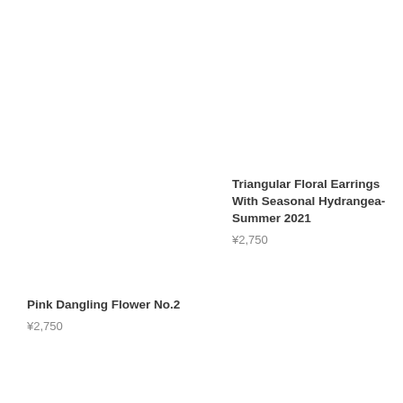Triangular Floral Earrings With Seasonal Hydrangea- Summer 2021
¥2,750
Pink Dangling Flower No.2
¥2,750